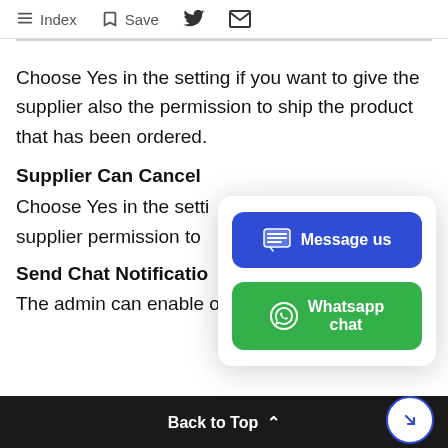Index  Save
Choose Yes in the setting if you want to give the supplier also the permission to ship the product that has been ordered.
Supplier Can Cancel
Choose Yes in the setting... supplier permission to...
Send Chat Notification
The admin can enable or disable this toggle...
[Figure (screenshot): Popup overlay with two buttons: 'Message us' (blue) and 'Whatsapp chat' (green) with icons]
Back to Top ^